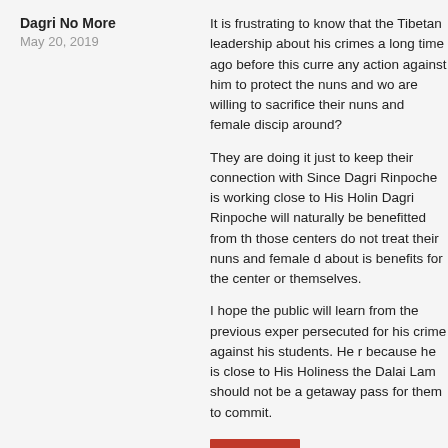Dagri No More
May 20, 2019
It is frustrating to know that the Tibetan leadership about his crimes a long time ago before this curre any action against him to protect the nuns and wo are willing to sacrifice their nuns and female discip around?
They are doing it just to keep their connection with Since Dagri Rinpoche is working close to His Holin Dagri Rinpoche will naturally be benefitted from th those centers do not treat their nuns and female d about is benefits for the center or themselves.
I hope the public will learn from the previous exper persecuted for his crime against his students. He r because he is close to His Holiness the Dalai Lam should not be a getaway pass for them to commit.
Reply
Tracy
May 20, 2019
This is what people say "what goes around comes been hurting innocent women including nuns for t knows, maybe he has been doing that for longer th his title 'Rinpoche' to cover up his evil intention. H giving them special blessings to help them...